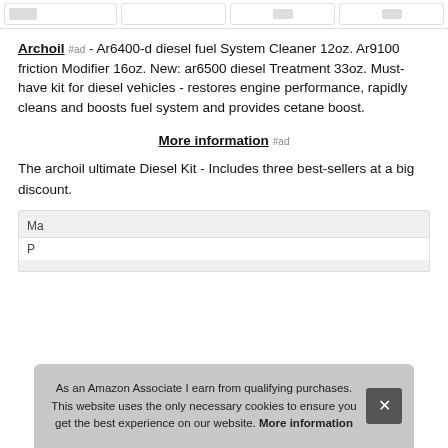[Figure (other): Top navigation bar with thumbnail product images]
Archoil #ad - Ar6400-d diesel fuel System Cleaner 12oz. Ar9100 friction Modifier 16oz. New: ar6500 diesel Treatment 33oz. Must-have kit for diesel vehicles - restores engine performance, rapidly cleans and boosts fuel system and provides cetane boost.
More information #ad
The archoil ultimate Diesel Kit - Includes three best-sellers at a big discount.
| Ma |  |
| --- | --- |
| P |  |
As an Amazon Associate I earn from qualifying purchases. This website uses the only necessary cookies to ensure you get the best experience on our website. More information